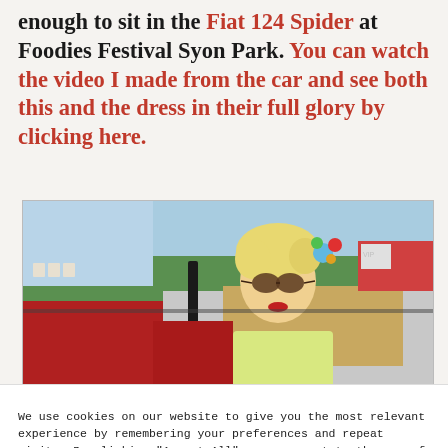enough to sit in the Fiat 124 Spider at Foodies Festival Syon Park. You can watch the video I made from the car and see both this and the dress in their full glory by clicking here.
[Figure (photo): A woman with blonde hair and sunglasses sitting in a red convertible car (Fiat 124 Spider) at an outdoor festival. She is wearing a light-coloured dress and has a colourful hair accessory. The background shows green trees and festival stalls.]
We use cookies on our website to give you the most relevant experience by remembering your preferences and repeat visits. By clicking "Accept All", you consent to the use of ALL the cookies.
Cookie Settings | Accept All